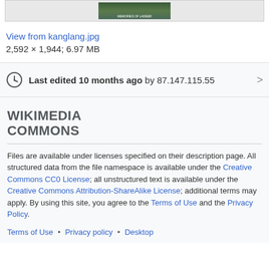[Figure (photo): Thumbnail image of a mountain view photo (View from kanglang.jpg)]
View from kanglang.jpg
2,592 × 1,944; 6.97 MB
Last edited 10 months ago by 87.147.115.55
WIKIMEDIA COMMONS
Files are available under licenses specified on their description page. All structured data from the file namespace is available under the Creative Commons CC0 License; all unstructured text is available under the Creative Commons Attribution-ShareAlike License; additional terms may apply. By using this site, you agree to the Terms of Use and the Privacy Policy.
Terms of Use • Privacy policy • Desktop